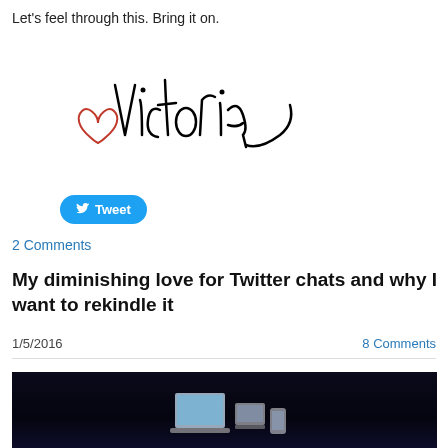Let's feel through this. Bring it on.
[Figure (illustration): Handwritten cursive signature reading 'Victoria' with a small red heart drawn to the left]
[Figure (other): Blue Twitter Tweet button with bird icon]
2 Comments
My diminishing love for Twitter chats and why I want to rekindle it
1/5/2016
8 Comments
[Figure (photo): Dark photo of a stage presentation showing computer/laptop imagery on a screen in a dimly lit room]